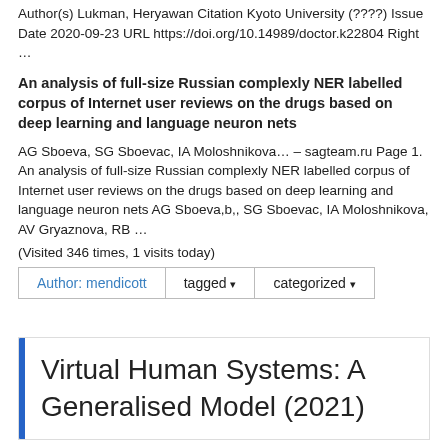Author(s) Lukman, Heryawan Citation Kyoto University (????) Issue Date 2020-09-23 URL https://doi.org/10.14989/doctor.k22804 Right …
An analysis of full-size Russian complexly NER labelled corpus of Internet user reviews on the drugs based on deep learning and language neuron nets
AG Sboeva, SG Sboevac, IA Moloshnikova… – sagteam.ru Page 1. An analysis of full-size Russian complexly NER labelled corpus of Internet user reviews on the drugs based on deep learning and language neuron nets AG Sboeva,b,, SG Sboevac, IA Moloshnikova, AV Gryaznova, RB …
(Visited 346 times, 1 visits today)
| Author: mendicott | tagged ▾ | categorized ▾ |
| --- | --- | --- |
Virtual Human Systems: A Generalised Model (2021)